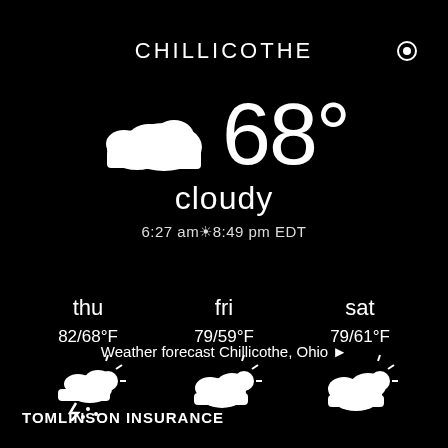CHILLICOTHE
[Figure (infographic): Cloud icon with overlapping clouds and large temperature display reading 68 degrees]
cloudy
6:27 am ☼ 8:49 pm EDT
thu  82/68°F  [thunderstorm icon]    fri  79/59°F  [partly cloudy icon]    sat  79/61°F  [partly cloudy icon]
Weather forecast Chillicothe, Ohio ▶
TOMLINSON INSURANCE